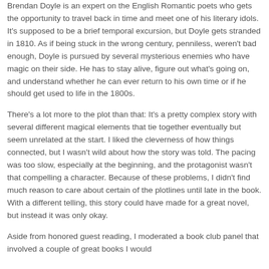Brendan Doyle is an expert on the English Romantic poets who gets the opportunity to travel back in time and meet one of his literary idols. It's supposed to be a brief temporal excursion, but Doyle gets stranded in 1810. As if being stuck in the wrong century, penniless, weren't bad enough, Doyle is pursued by several mysterious enemies who have magic on their side. He has to stay alive, figure out what's going on, and understand whether he can ever return to his own time or if he should get used to life in the 1800s.
There's a lot more to the plot than that: It's a pretty complex story with several different magical elements that tie together eventually but seem unrelated at the start. I liked the cleverness of how things connected, but I wasn't wild about how the story was told. The pacing was too slow, especially at the beginning, and the protagonist wasn't that compelling a character. Because of these problems, I didn't find much reason to care about certain of the plotlines until late in the book. With a different telling, this story could have made for a great novel, but instead it was only okay.
Aside from honored guest reading, I moderated a book club panel that involved a couple of great books I would